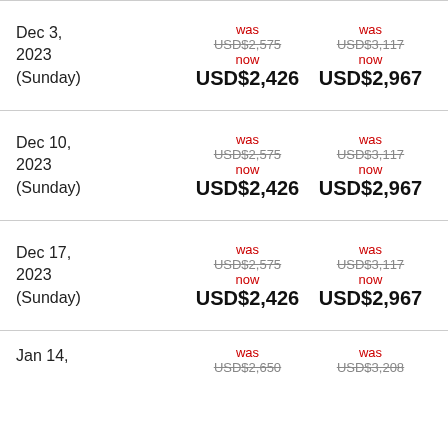| Date | Price Option 1 | Price Option 2 |
| --- | --- | --- |
| Dec 3, 2023 (Sunday) | was USD$2,575 now USD$2,426 | was USD$3,117 now USD$2,967 |
| Dec 10, 2023 (Sunday) | was USD$2,575 now USD$2,426 | was USD$3,117 now USD$2,967 |
| Dec 17, 2023 (Sunday) | was USD$2,575 now USD$2,426 | was USD$3,117 now USD$2,967 |
| Jan 14, | was USD$2,650 now ... | was USD$3,208 now ... |